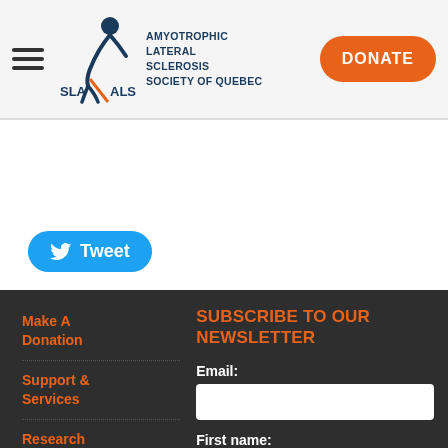SLA ALS - Amyotrophic Lateral Sclerosis Society of Quebec | DONATE
[Figure (logo): SLA ALS logo with stylized figure and text: AMYOTROPHIC LATERAL SCLEROSIS SOCIETY OF QUEBEC]
Tweet
Make A Donation
Support & Services
Research
Ride to Fight ALS
SUBSCRIBE TO OUR NEWSLETTER
Email:
First name: